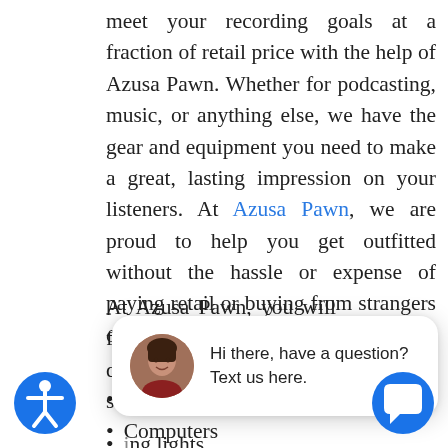meet your recording goals at a fraction of retail price with the help of Azusa Pawn. Whether for podcasting, music, or anything else, we have the gear and equipment you need to make a great, lasting impression on your listeners. At Azusa Pawn, we are proud to help you get outfitted without the hassle or expense of paying retail or buying from strangers online.
At Azusa Pawn, you will find only high quality and ... such as:
Micropho...
Computers
ing lights
Tripods and stabilizers
[Figure (screenshot): Chat popup overlay with avatar photo of a woman and text 'Hi there, have a question? Text us here.' with a close button in top right]
[Figure (illustration): Blue circular accessibility icon button (person with arms out) at bottom left]
[Figure (illustration): Blue circular chat icon button at bottom right]